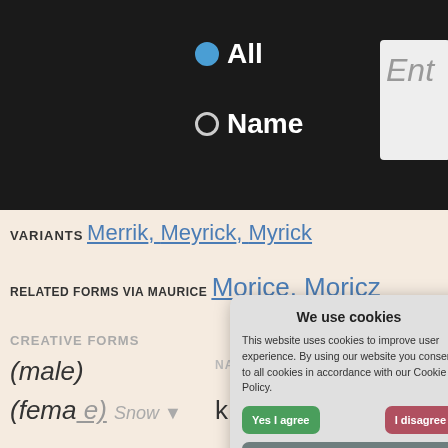[Figure (screenshot): Dark top navigation bar with radio buttons for All and Name, and a partial text entry box labeled Ent]
VARIANTS Merrik, Meyrick, Myrick
RELATED FORMS VIA MAURICE Morice, Moricz
CREATIVE FORMS
(male)
(female)
MIDDLE NAME PAIRINGS
Merrick Storm (M.S.) ... More v!
[Figure (screenshot): Cookie consent popup dialog with title We use cookies, body text about cookie policy, Yes I agree button, I disagree button, Read more button, and footer Free cookie consent by cookie-script.com]